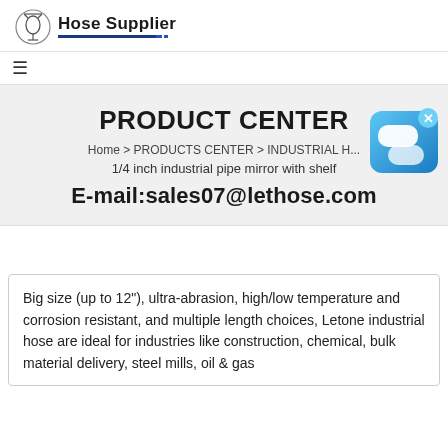Hose Supplier
PRODUCT CENTER
Home > PRODUCTS CENTER > INDUSTRIAL H...
1/4 inch industrial pipe mirror with shelf
E-mail:sales07@lethose.com
Big size (up to 12"), ultra-abrasion, high/low temperature and corrosion resistant, and multiple length choices, Letone industrial hose are ideal for industries like construction, chemical, bulk material delivery, steel mills, oil & gas